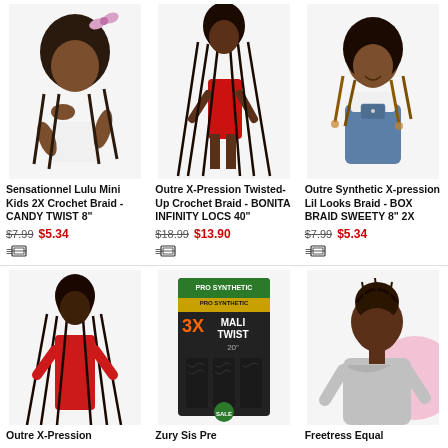[Figure (photo): Young girl with braided hair and pink bow, posing on white background]
Sensationnel Lulu Mini Kids 2X Crochet Braid - CANDY TWIST 8"
$7.99  $5.34
[Figure (photo): Young woman in red dress with very long black braided hair, full body shot on white background]
Outre X-Pression Twisted-Up Crochet Braid - BONITA INFINITY LOCS 40"
$18.99  $13.90
[Figure (photo): Young girl with ombre box braids wearing denim overalls, smiling on white background]
Outre Synthetic X-pression Lil Looks Braid - BOX BRAID SWEETY 8" 2X
$7.99  $5.34
[Figure (photo): Woman in red outfit with very long box braids, full body shot]
Outre X-Pression
[Figure (photo): Product packaging showing 3X Mali Twist hair extension bundle]
Zury Sis Pre
[Figure (photo): Woman with medium-length twisted/braided updo hairstyle in gray top, with pink circle graphic]
Freetress Equal